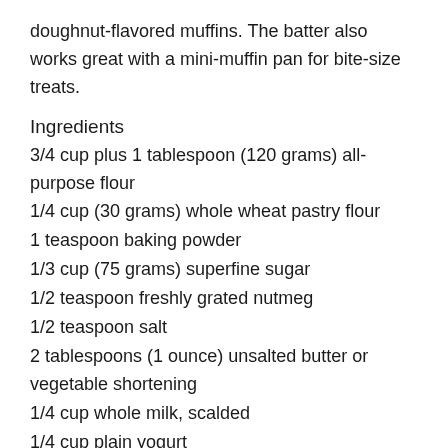doughnut-flavored muffins. The batter also works great with a mini-muffin pan for bite-size treats.
Ingredients
3/4 cup plus 1 tablespoon (120 grams) all-purpose flour
1/4 cup (30 grams) whole wheat pastry flour
1 teaspoon baking powder
1/3 cup (75 grams) superfine sugar
1/2 teaspoon freshly grated nutmeg
1/2 teaspoon salt
2 tablespoons (1 ounce) unsalted butter or vegetable shortening
1/4 cup whole milk, scalded
1/4 cup plain yogurt
1 teaspoon vanilla extract
1 egg, beaten